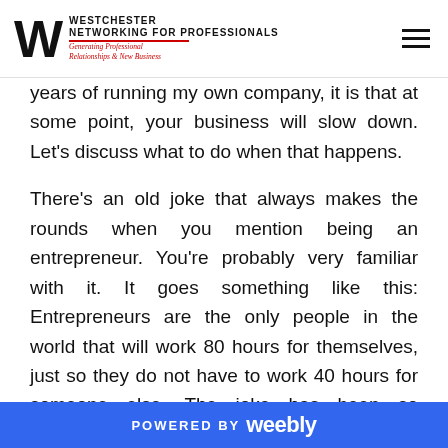WESTCHESTER NETWORKING FOR PROFESSIONALS — Generating Professional Relationships & New Business
years of running my own company, it is that at some point, your business will slow down. Let's discuss what to do when that happens.
There's an old joke that always makes the rounds when you mention being an entrepreneur. You're probably very familiar with it. It goes something like this: Entrepreneurs are the only people in the world that will work 80 hours for themselves, just so they do not have to work 40 hours for someone else. The joke has been so overdone, I'm not entirely sure who even said it to begin with, but I personally first heard it from Lori Greiner.
POWERED BY weebly